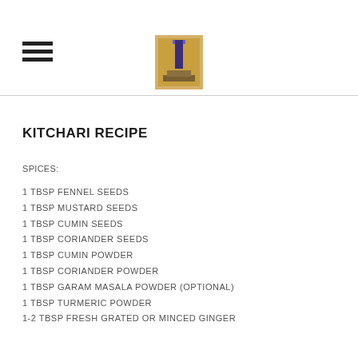[hamburger menu icon] [logo image]
KITCHARI RECIPE
SPICES:
1 TBSP FENNEL SEEDS
1 TBSP MUSTARD SEEDS
1 TBSP CUMIN SEEDS
1 TBSP CORIANDER SEEDS
1 TBSP CUMIN POWDER
1 TBSP CORIANDER POWDER
1 TBSP GARAM MASALA POWDER (OPTIONAL)
1 TBSP TURMERIC POWDER
1-2 TBSP FRESH GRATED OR MINCED GINGER